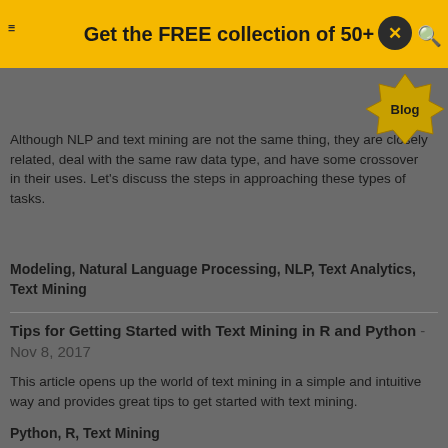Get the FREE collection of 50+
Although NLP and text mining are not the same thing, they are closely related, deal with the same raw data type, and have some crossover in their uses. Let's discuss the steps in approaching these types of tasks.
Modeling, Natural Language Processing, NLP, Text Analytics, Text Mining
Tips for Getting Started with Text Mining in R and Python - Nov 8, 2017
This article opens up the world of text mining in a simple and intuitive way and provides great tips to get started with text mining.
Python, R, Text Mining